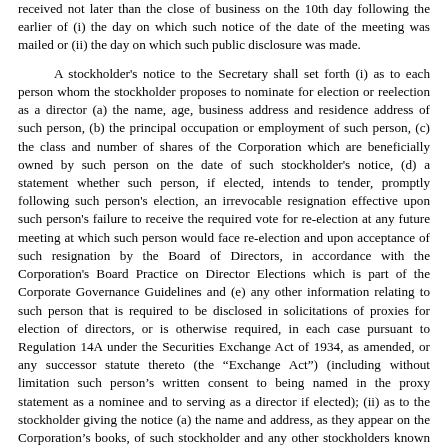received not later than the close of business on the 10th day following the earlier of (i) the day on which such notice of the date of the meeting was mailed or (ii) the day on which such public disclosure was made.
A stockholder's notice to the Secretary shall set forth (i) as to each person whom the stockholder proposes to nominate for election or reelection as a director (a) the name, age, business address and residence address of such person, (b) the principal occupation or employment of such person, (c) the class and number of shares of the Corporation which are beneficially owned by such person on the date of such stockholder's notice, (d) a statement whether such person, if elected, intends to tender, promptly following such person's election, an irrevocable resignation effective upon such person's failure to receive the required vote for re-election at any future meeting at which such person would face re-election and upon acceptance of such resignation by the Board of Directors, in accordance with the Corporation's Board Practice on Director Elections which is part of the Corporate Governance Guidelines and (e) any other information relating to such person that is required to be disclosed in solicitations of proxies for election of directors, or is otherwise required, in each case pursuant to Regulation 14A under the Securities Exchange Act of 1934, as amended, or any successor statute thereto (the “Exchange Act”) (including without limitation such person’s written consent to being named in the proxy statement as a nominee and to serving as a director if elected); (ii) as to the stockholder giving the notice (a) the name and address, as they appear on the Corporation’s books, of such stockholder and any other stockholders known by such stockholder to be supporting such nominee(s), (b) the class and number of shares of the Corporation which are beneficially owned by such stockholder on the date of such stockholder’s notice and by any other stockholders known by such stockholder to be supporting such nominee(s) on the date of such stockholder’s notice, (c) a representation that the stockholder is a holder of